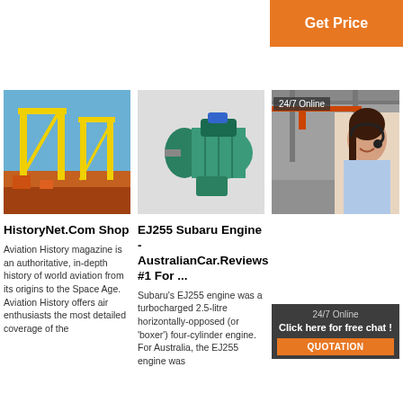[Figure (other): Orange 'Get Price' button in top right corner]
[Figure (photo): Yellow gantry crane against blue sky with construction equipment]
[Figure (photo): Green industrial motor/engine machine on white background]
[Figure (photo): Industrial warehouse interior with overhead crane and customer service representative overlay with 24/7 Online and QUOTATION button]
HistoryNet.Com Shop
Aviation History magazine is an authoritative, in-depth history of world aviation from its origins to the Space Age. Aviation History offers air enthusiasts the most detailed coverage of the
EJ255 Subaru Engine - AustralianCar.Reviews #1 For ...
Subaru's EJ255 engine was a turbocharged 2.5-litre horizontally-opposed (or 'boxer') four-cylinder engine. For Australia, the EJ255 engine was
Panzer VI Tiger 'Tiger I' - Tanks ...
2019-4-30u2002·u2002While German tanks on the other hand have capability of delivering that 1 shot tank kill, example in